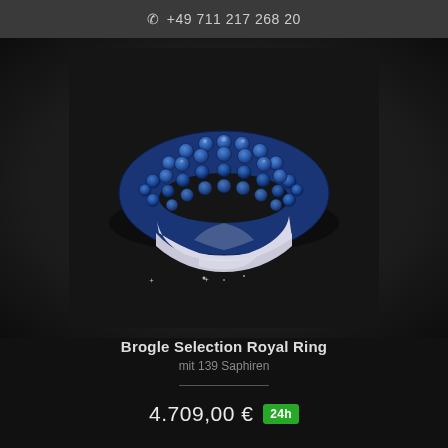+49 711 217 268 20
[Figure (photo): Close-up photo of a silver band ring set with multiple rows of blue sapphires (139 total), photographed against a dark black textured background.]
Brogle Selection Royal Ring
mit 139 Saphiren
4.709,00 € 24h